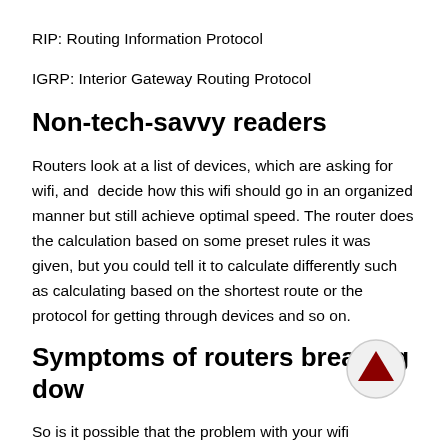RIP: Routing Information Protocol
IGRP: Interior Gateway Routing Protocol
Non-tech-savvy readers
Routers look at a list of devices, which are asking for wifi, and  decide how this wifi should go in an organized manner but still achieve optimal speed. The router does the calculation based on some preset rules it was given, but you could tell it to calculate differently such as calculating based on the shortest route or the protocol for getting through devices and so on.
Symptoms of routers breaking dow…
So is it possible that the problem with your wifi connection